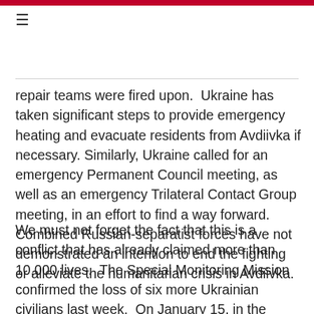≡
repair teams were fired upon.  Ukraine has taken significant steps to provide emergency heating and evacuate residents from Avdiivka if necessary. Similarly, Ukraine called for an emergency Permanent Council meeting, as well as an emergency Trilateral Contact Group meeting, in an effort to find a way forward.  Combined Russian-separatist forces have not demonstrated an intention to end the fighting or alleviate the humanitarian crisis in Avdiivka.
We must not forget the fact that this is a conflict that has already claimed more than 10,000 lives.  The Special Monitoring Mission confirmed the loss of six more Ukrainian civilians last week.  On January 15, in the village of Irmino, a 27-year-old man was killed in his garden by an incoming projectile.  Two days later, a 58-year-old man died after stepping on a land mine in a negotiated field. The...